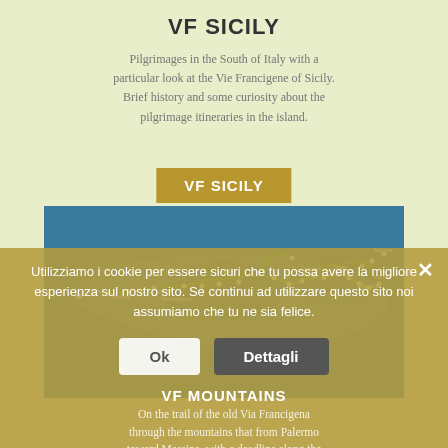VF SICILY
Pilgrimages in the South of Italy with a particular look at the Vie Francigene of Sicily. Brief history and some curiosity about the pilgrimage itineraries in the island.
[Figure (map): Map of Sicily showing pilgrimage route (Via Francigena) with labeled towns connected by a green path, overlaid with a golden 'VF SICILY' label at the top.]
Utilizziamo i cookie per essere sicuri che tu possa avere la migliore esperienza sul nostro sito. Se continui ad utilizzare questo sito noi assumiamo che tu ne sia felice.
On the trail of the old Via Francigena through the mountains that from Palermo toward Messina, with a deadline along the
VF MOUNTAINS